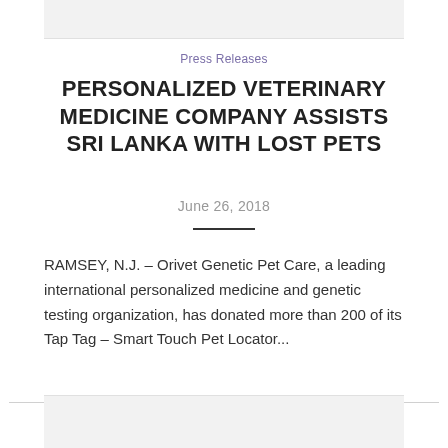Press Releases
PERSONALIZED VETERINARY MEDICINE COMPANY ASSISTS SRI LANKA WITH LOST PETS
June 26, 2018
RAMSEY, N.J. – Orivet Genetic Pet Care, a leading international personalized medicine and genetic testing organization, has donated more than 200 of its Tap Tag – Smart Touch Pet Locator...